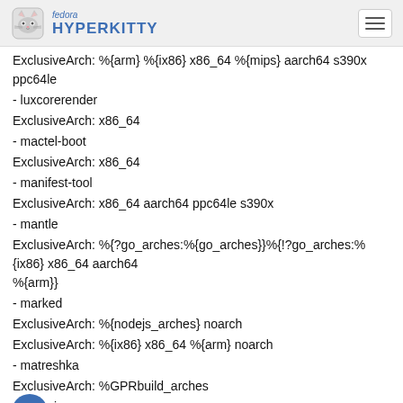fedora HYPERKITTY
ExclusiveArch: %{arm} %{ix86} x86_64 %{mips} aarch64 s390x ppc64le
- luxcorerender
ExclusiveArch: x86_64
- mactel-boot
ExclusiveArch: x86_64
- manifest-tool
ExclusiveArch: x86_64 aarch64 ppc64le s390x
- mantle
ExclusiveArch: %{?go_arches:%{go_arches}}%{!?go_arches:%{ix86} x86_64 aarch64 %{arm}}
- marked
ExclusiveArch: %{nodejs_arches} noarch
ExclusiveArch: %{ix86} x86_64 %{arm} noarch
- matreshka
ExclusiveArch: %GPRbuild_arches
- ima
ExclusiveArch: %{arm} %{ix86} x86_64 aarch64 ppc sparcv9